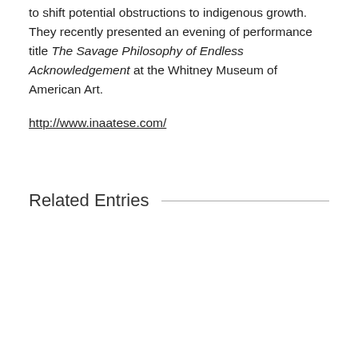to shift potential obstructions to indigenous growth. They recently presented an evening of performance title The Savage Philosophy of Endless Acknowledgement at the Whitney Museum of American Art.
http://www.inaatese.com/
Related Entries